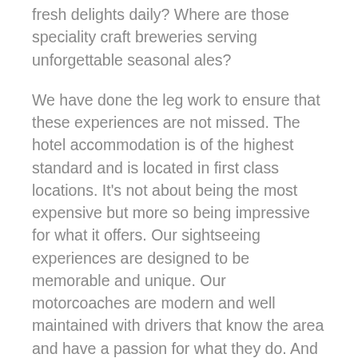fresh delights daily? Where are those speciality craft breweries serving unforgettable seasonal ales?
We have done the leg work to ensure that these experiences are not missed. The hotel accommodation is of the highest standard and is located in first class locations. It's not about being the most expensive but more so being impressive for what it offers. Our sightseeing experiences are designed to be memorable and unique. Our motorcoaches are modern and well maintained with drivers that know the area and have a passion for what they do. And our Tour Directors have many years of experience and are extremely knowledgeable about the area which you are travelling to. Last but not least we offer professional customer service with 24 hour travel assistance.
If you have a passion for travel and are looking for something authentic, Global Tour Specialists has something a little different